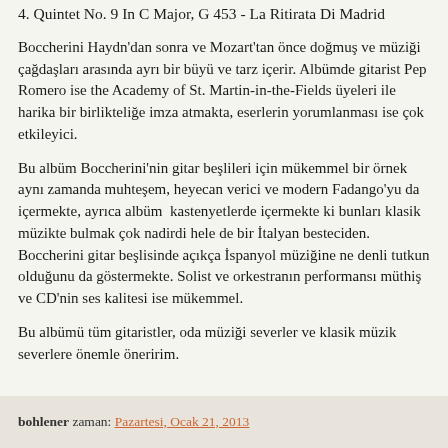4. Quintet No. 9 In C Major, G 453 - La Ritirata Di Madrid
Boccherini Haydn'dan sonra ve Mozart'tan önce doğmuş ve müziği çağdaşları arasında ayrı bir büyü ve tarz içerir. Albümde gitarist Pep Romero ise the Academy of St. Martin-in-the-Fields üyeleri ile harika bir birlikteliğe imza atmakta, eserlerin yorumlanması ise çok etkileyici.
Bu albüm Boccherini'nin gitar beşlileri için mükemmel bir örnek aynı zamanda muhteşem, heyecan verici ve modern Fadango'yu da içermekte, ayrıca albüm  kastenyetlerde içermekte ki bunları klasik müzikte bulmak çok nadirdi hele de bir İtalyan besteciden. Boccherini gitar beşlisinde açıkça İspanyol müziğine ne denli tutkun olduğunu da göstermekte. Solist ve orkestranın performansı müthiş ve CD'nin ses kalitesi ise mükemmel.
Bu albümü tüm gitaristler, oda müziği severler ve klasik müzik severlere önemle öneririm.
bohlener zaman: Pazartesi, Ocak 21, 2013